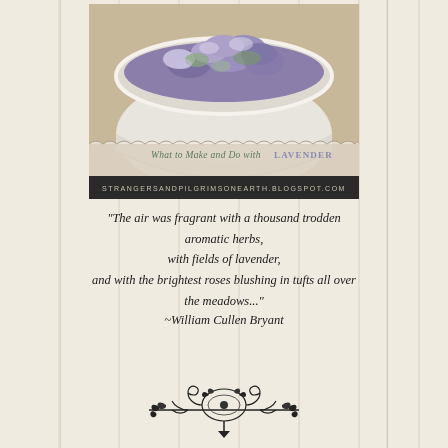[Figure (photo): Photo of a white ceramic bowl filled with dried lavender flowers (purple and green), with text overlay reading 'What to Make and Do with LAVENDER' and website 'STRANGERSANDPILGRIMSONEARTH.BLOGSPOT.COM']
“The air was fragrant with a thousand trodden aromatic herbs, with fields of lavender, and with the brightest roses blushing in tufts all over the meadows...” ~William Cullen Bryant
[Figure (illustration): Decorative black ornamental divider with scrollwork and floral motifs]